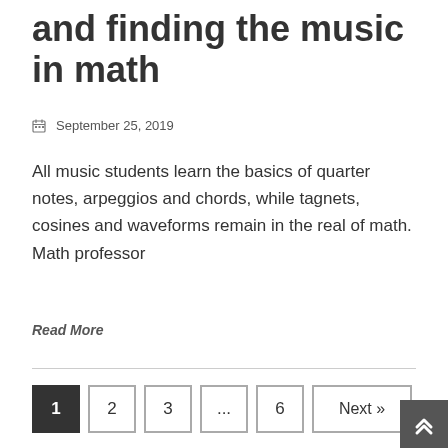and finding the music in math
September 25, 2019
All music students learn the basics of quarter notes, arpeggios and chords, while tagnets, cosines and waveforms remain in the real of math. Math professor
Read More
1 2 3 ... 6 Next »